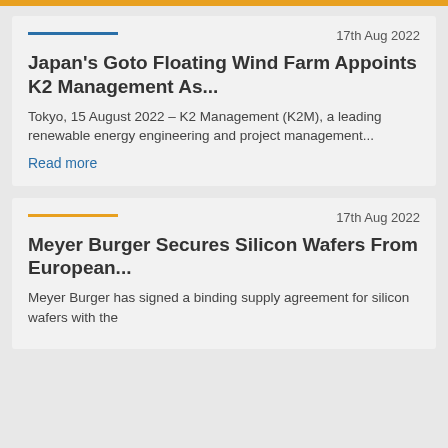17th Aug 2022
Japan's Goto Floating Wind Farm Appoints K2 Management As...
Tokyo, 15 August 2022 – K2 Management (K2M), a leading renewable energy engineering and project management...
Read more
17th Aug 2022
Meyer Burger Secures Silicon Wafers From European...
Meyer Burger has signed a binding supply agreement for silicon wafers with the